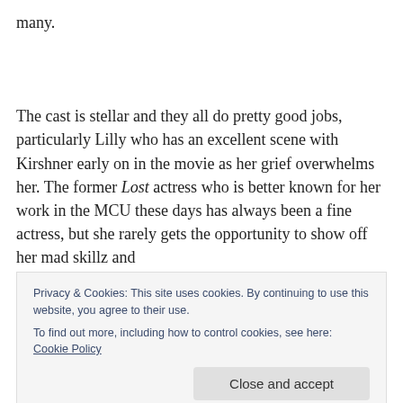many.
The cast is stellar and they all do pretty good jobs, particularly Lilly who has an excellent scene with Kirshner early on in the movie as her grief overwhelms her. The former Lost actress who is better known for her work in the MCU these days has always been a fine actress, but she rarely gets the opportunity to show off her mad skillz and
Privacy & Cookies: This site uses cookies. By continuing to use this website, you agree to their use.
To find out more, including how to control cookies, see here: Cookie Policy
Close and accept
dramatic tension built in but Jarecki scuttles it by moving